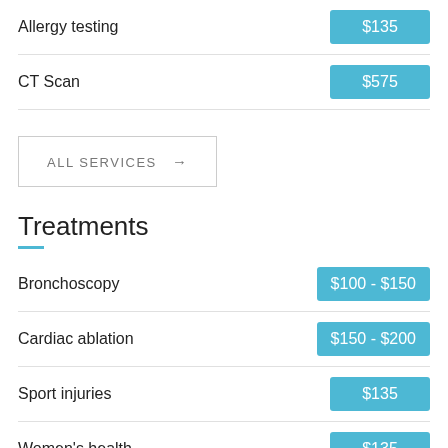Allergy testing — $135
CT Scan — $575
ALL SERVICES →
Treatments
Bronchoscopy — $100 - $150
Cardiac ablation — $150 - $200
Sport injuries — $135
Women's health — $135